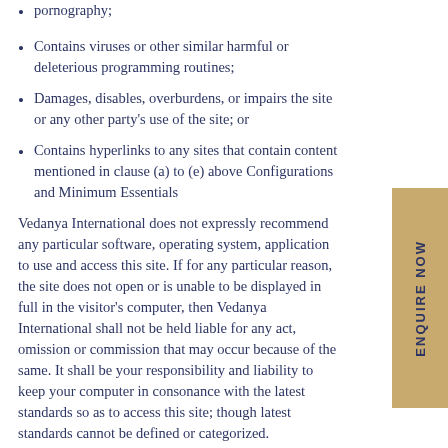pornography;
Contains viruses or other similar harmful or deleterious programming routines;
Damages, disables, overburdens, or impairs the site or any other party's use of the site; or
Contains hyperlinks to any sites that contain content mentioned in clause (a) to (e) above Configurations and Minimum Essentials
Vedanya International does not expressly recommend any particular software, operating system, application to use and access this site. If for any particular reason, the site does not open or is unable to be displayed in full in the visitor's computer, then Vedanya International shall not be held liable for any act, omission or commission that may occur because of the same. It shall be your responsibility and liability to keep your computer in consonance with the latest standards so as to access this site; though latest standards cannot be defined or categorized.